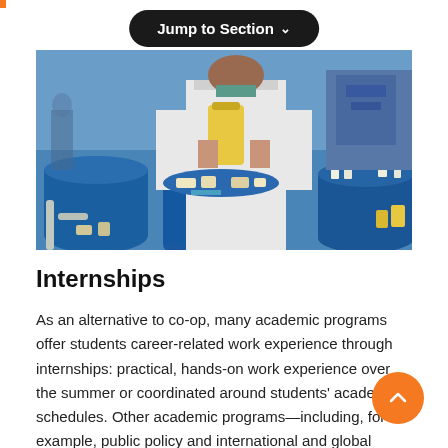Jump to Section ∨
[Figure (photo): Person in white lab coat holding a yellow liquid-filled container in an industrial/laboratory setting with large blue barrels and bottles on surfaces.]
Internships
As an alternative to co-op, many academic programs offer students career-related work experience through internships: practical, hands-on work experience over the summer or coordinated around students' academic schedules. Other academic programs—including, for example, public policy and international and global studies